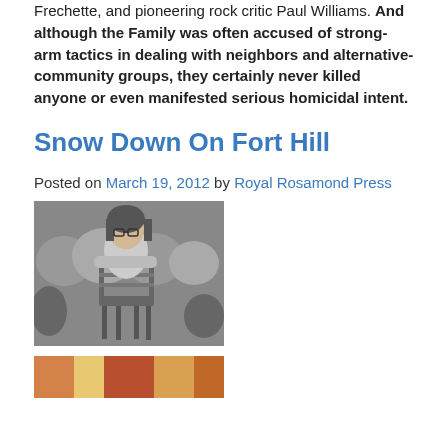Frechette, and pioneering rock critic Paul Williams. And although the Family was often accused of strong-arm tactics in dealing with neighbors and alternative-community groups, they certainly never killed anyone or even manifested serious homicidal intent.
Snow Down On Fort Hill
Posted on March 19, 2012 by Royal Rosamond Press
[Figure (photo): Black and white photograph of a person with long hair and glasses sitting on a wooden chair outdoors, leaning forward with arms resting on the chair back, with rocks and foliage in the background.]
[Figure (photo): Partial cropped color photograph at bottom of page, showing colorful imagery, partially cut off.]